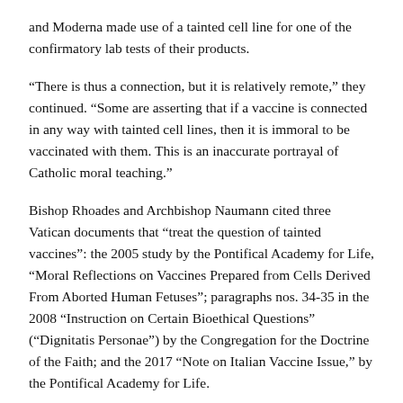and Moderna made use of a tainted cell line for one of the confirmatory lab tests of their products.
“There is thus a connection, but it is relatively remote,” they continued. “Some are asserting that if a vaccine is connected in any way with tainted cell lines, then it is immoral to be vaccinated with them. This is an inaccurate portrayal of Catholic moral teaching.”
Bishop Rhoades and Archbishop Naumann cited three Vatican documents that “treat the question of tainted vaccines”: the 2005 study by the Pontifical Academy for Life, “Moral Reflections on Vaccines Prepared from Cells Derived From Aborted Human Fetuses”; paragraphs nos. 34-35 in the 2008 “Instruction on Certain Bioethical Questions” (“Dignitatis Personae”) by the Congregation for the Doctrine of the Faith; and the 2017 “Note on Italian Vaccine Issue,” by the Pontifical Academy for Life.
“These documents all point to the immorality of using